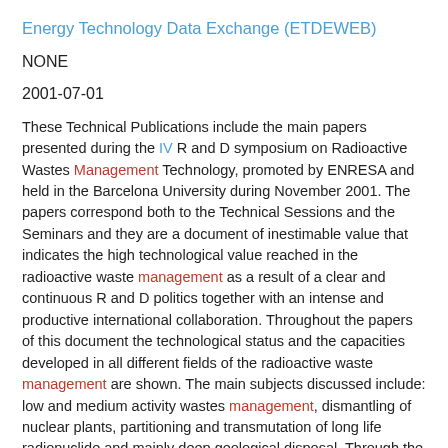Energy Technology Data Exchange (ETDEWEB)
NONE
2001-07-01
These Technical Publications include the main papers presented during the IV R and D symposium on Radioactive Wastes Management Technology, promoted by ENRESA and held in the Barcelona University during November 2001. The papers correspond both to the Technical Sessions and the Seminars and they are a document of inestimable value that indicates the high technological value reached in the radioactive waste management as a result of a clear and continuous R and D politics together with an intense and productive international collaboration. Throughout the papers of this document the technological status and the capacities developed in all different fields of the radioactive waste management are shown. The main subjects discussed include: low and medium activity wastes management, dismantling of nuclear plants, partitioning and transmutation of long life radionuclide and mainly deep geological disposal. Through the papers corresponding to the scientific sessions the state of the art in the mentioned areas is reviewed with special emphasis on the achievements and